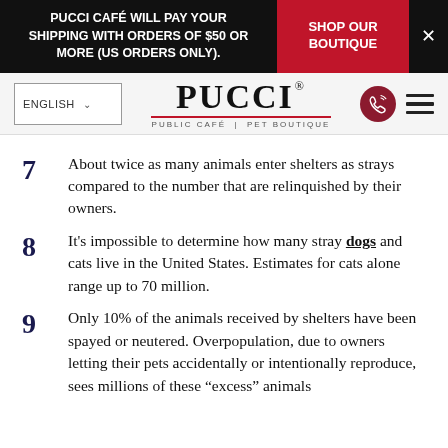PUCCI CAFÉ WILL PAY YOUR SHIPPING WITH ORDERS OF $50 OR MORE (US ORDERS ONLY).
SHOP OUR BOUTIQUE
[Figure (logo): PUCCI Public Café Pet Boutique logo with red underline]
7  About twice as many animals enter shelters as strays compared to the number that are relinquished by their owners.
8  It's impossible to determine how many stray dogs and cats live in the United States. Estimates for cats alone range up to 70 million.
9  Only 10% of the animals received by shelters have been spayed or neutered. Overpopulation, due to owners letting their pets accidentally or intentionally reproduce, sees millions of these "excess" animals